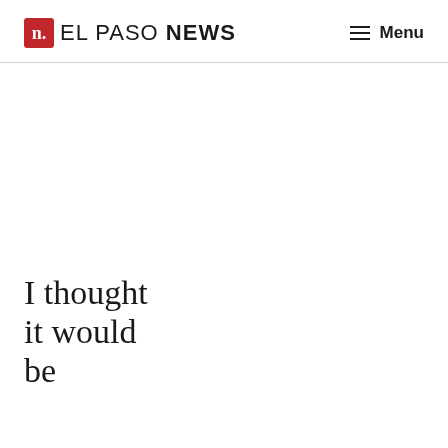n. EL PASO NEWS   ☰ Menu
I thought it would be